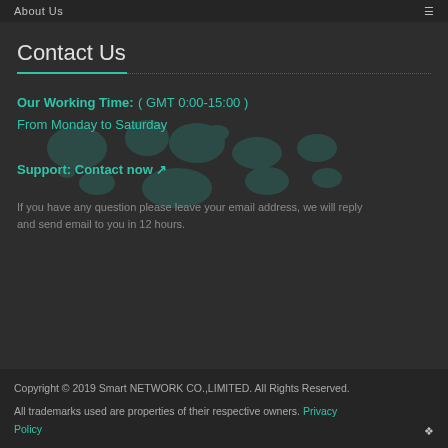About Us
Contact Us
Our Working Time: ( GMT 0:00-15:00 )
From Monday to Saturday
Support: Contact now 🔗
If you have any question please leave your email address, we will reply and send email to you in 12 hours.
Copyright © 2019 Smart NETWORK CO.,LIMITED. All Rights Reserved. All trademarks used are properties of their respective owners. Privacy Policy